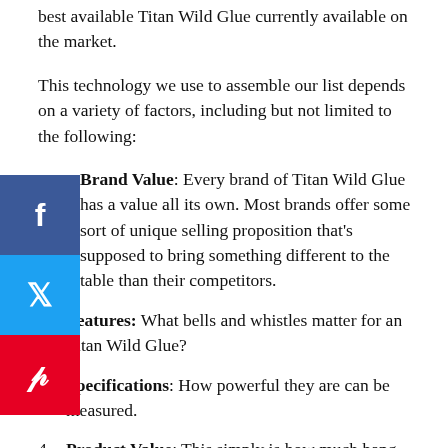best available Titan Wild Glue currently available on the market.
This technology we use to assemble our list depends on a variety of factors, including but not limited to the following:
Brand Value: Every brand of Titan Wild Glue has a value all its own. Most brands offer some sort of unique selling proposition that's supposed to bring something different to the table than their competitors.
Features: What bells and whistles matter for an Titan Wild Glue?
Specifications: How powerful they are can be measured.
Product Value: This simply is how much bang for the buck you get from your Titan Wild Glue.